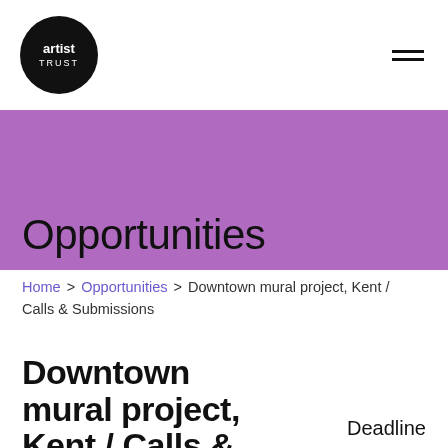artist trust — navigation
Opportunities
Home > Opportunities > Downtown mural project, Kent / Calls & Submissions
Downtown mural project, Kent / Calls &
Deadline